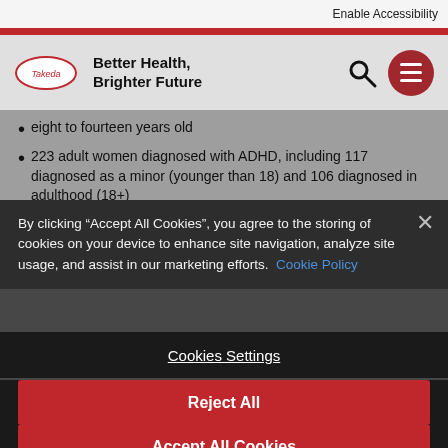Enable Accessibility
Better Health, Brighter Future
eight to fourteen years old
223 adult women diagnosed with ADHD, including 117 diagnosed as a minor (younger than 18) and 106 diagnosed in adulthood (18+)
303 teachers, including 151 elementary school teachers (1st-5th grade) and 152 middle school teachers (6th-8th grade)
303 health care providers, including 100 primary care physicians
By clicking “Accept All Cookies”, you agree to the storing of cookies on your device to enhance site navigation, analyze site usage, and assist in our marketing efforts. Cookie Policy
Cookies Settings
Reject All
Accept All Cookies